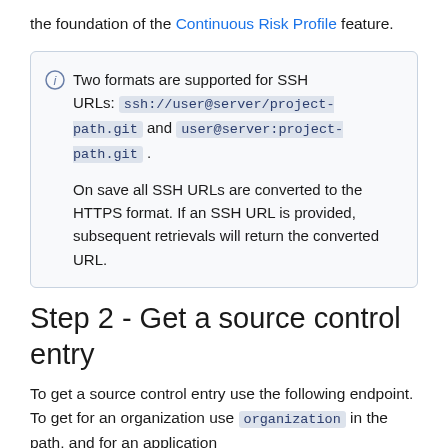the foundation of the Continuous Risk Profile feature.
Two formats are supported for SSH URLs: ssh://user@server/project-path.git and user@server:project-path.git . On save all SSH URLs are converted to the HTTPS format. If an SSH URL is provided, subsequent retrievals will return the converted URL.
Step 2 - Get a source control entry
To get a source control entry use the following endpoint. To get for an organization use organization in the path, and for an application